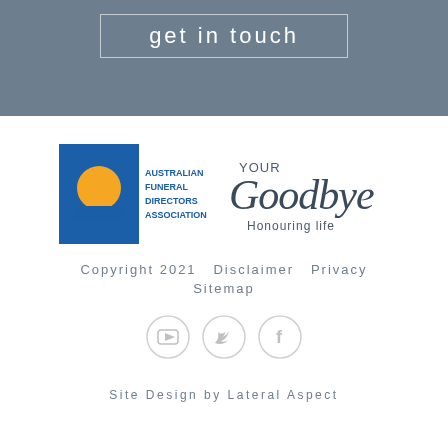get in touch
[Figure (logo): Australian Funeral Directors Association logo with Your Goodbye Honouring life branding]
Copyright 2021   Disclaimer   Privacy   Sitemap
[Figure (infographic): Three social media icons: YouTube, Twitter, Facebook in light grey circles]
Site Design by Lateral Aspect